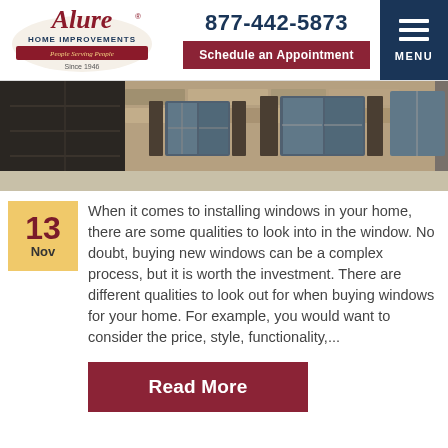[Figure (logo): Alure Home Improvements logo with red cursive text and tagline 'Since 1946']
877-442-5873
Schedule an Appointment
[Figure (photo): Exterior of a stone house with dark shutters, large windows, and a dark garage door]
13 Nov
When it comes to installing windows in your home, there are some qualities to look into in the window. No doubt, buying new windows can be a complex process, but it is worth the investment. There are different qualities to look out for when buying windows for your home. For example, you would want to consider the price, style, functionality,...
Read More